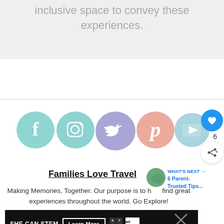inclusive space to convey these experiences.
[Figure (infographic): Row of 5 watercolor social media icons: Facebook (teal), Instagram (teal), Twitter (purple), Pinterest (salmon/pink), YouTube (light blue). A blue heart/like button with count 6 and a share button overlay on the right.]
Families Love Travel
WHAT'S NEXT → 6 Parent-Trusted Tips...
Making Memories, Together. Our purpose is to help find great experiences throughout the world. Go Explore!
[Figure (infographic): Dark advertisement banner: SHE CAN STEM | Learn More button | STEM logo grid | Ad Council logo]